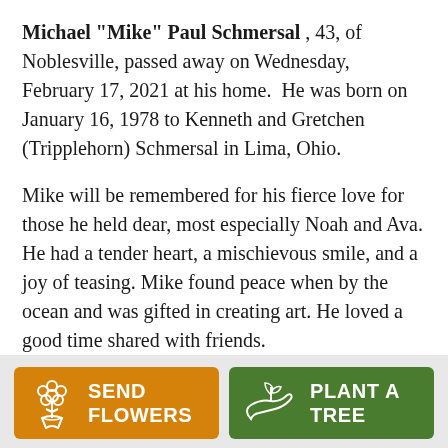Michael "Mike" Paul Schmersal , 43, of Noblesville, passed away on Wednesday, February 17, 2021 at his home.  He was born on January 16, 1978 to Kenneth and Gretchen (Tripplehorn) Schmersal in Lima, Ohio.
Mike will be remembered for his fierce love for those he held dear, most especially Noah and Ava. He had a tender heart, a mischievous smile, and a joy of teasing. Mike found peace when by the ocean and was gifted in creating art. He loved a good time shared with friends.
[Figure (other): Orange button with flower bouquet icon and text SEND FLOWERS]
[Figure (other): Green button with plant/tree icon and text PLANT A TREE]